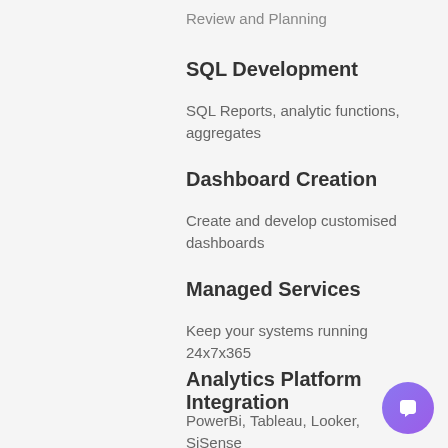Review and Planning
SQL Development
SQL Reports, analytic functions, aggregates
Dashboard Creation
Create and develop customised dashboards
Managed Services
Keep your systems running 24x7x365
Analytics Platform Integration
PowerBi, Tableau, Looker, SiSense